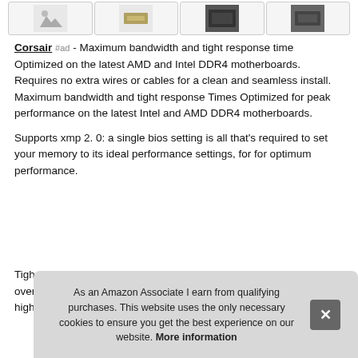[Figure (photo): Four product thumbnail images in bordered boxes]
Corsair #ad - Maximum bandwidth and tight response time Optimized on the latest AMD and Intel DDR4 motherboards. Requires no extra wires or cables for a clean and seamless install. Maximum bandwidth and tight response Times Optimized for peak performance on the latest Intel and AMD DDR4 motherboards.
Supports xmp 2. 0: a single bios setting is all that's required to set your memory to its ideal performance settings, for for optimum performance.
As an Amazon Associate I earn from qualifying purchases. This website uses the only necessary cookies to ensure you get the best experience on our website. More information
Tigh... over... high...